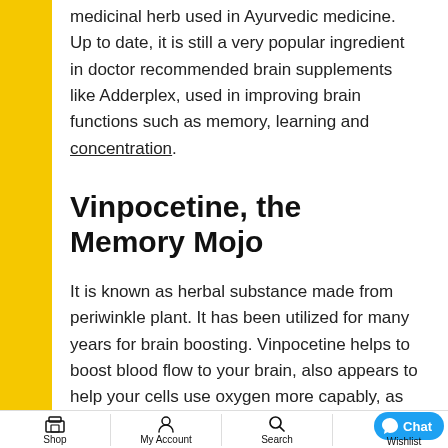medicinal herb used in Ayurvedic medicine. Up to date, it is still a very popular ingredient in doctor recommended brain supplements like Adderplex, used in improving brain functions such as memory, learning and concentration.
Vinpocetine, the Memory Mojo
It is known as herbal substance made from periwinkle plant. It has been utilized for many years for brain boosting. Vinpocetine helps to boost blood flow to your brain, also appears to help your cells use oxygen more capably, as well
Shop  My Account  Search  Wishlist  Chat